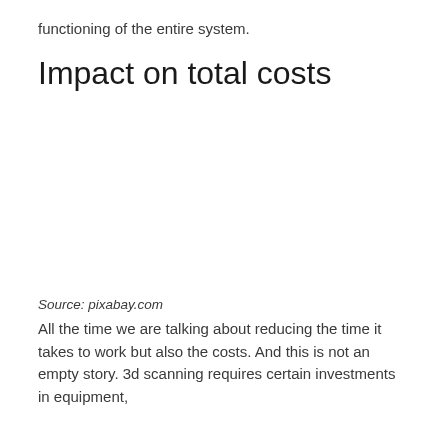functioning of the entire system.
Impact on total costs
[Figure (photo): Blank white space where an image would appear (image not visible in scan)]
Source: pixabay.com
All the time we are talking about reducing the time it takes to work but also the costs. And this is not an empty story. 3d scanning requires certain investments in equipment,